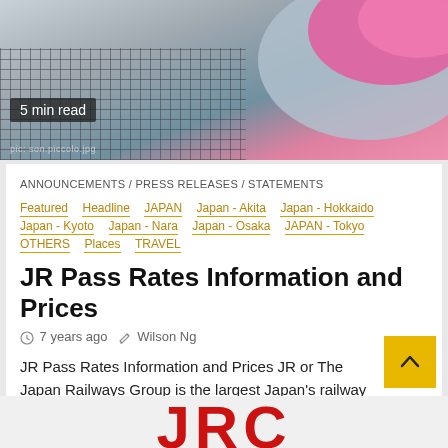[Figure (photo): Top portion of a shinkansen bullet train (blue-grey and pink/magenta nose) seen from above, with a metal grate/grid surface in the foreground. Overlaid badge reads '5 min read'. Photo credit watermark visible.]
ANNOUNCEMENTS / PRESS RELEASES / STATEMENTS
Featured  Headline  JAPAN  Japan - Akita  Japan - Hokkaido  Japan - Kyoto  Japan - Nara  Japan - Osaka  JAPAN - Tokyo  OTHERS  Places  TRAVEL
JR Pass Rates Information and Prices
7 years ago   Wilson Ng
JR Pass Rates Information and Prices JR or The Japan Railways Group is the largest Japan's railway network. It connects...
[Figure (logo): Large red bold letters at the bottom of the page, partially visible — appears to be a logo starting with 'JR' or similar red text on light background.]